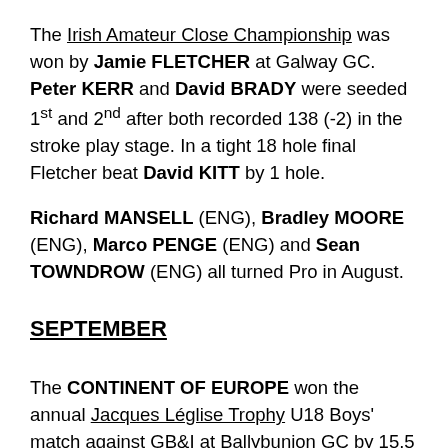The Irish Amateur Close Championship was won by Jamie FLETCHER at Galway GC. Peter KERR and David BRADY were seeded 1st and 2nd after both recorded 138 (-2) in the stroke play stage. In a tight 18 hole final Fletcher beat David KITT by 1 hole.
Richard MANSELL (ENG), Bradley MOORE (ENG), Marco PENGE (ENG) and Sean TOWNDROW (ENG) all turned Pro in August.
SEPTEMBER
The CONTINENT OF EUROPE won the annual Jacques Léglise Trophy U18 Boys' match against GB&I at Ballybunion GC by 15.5 – 9.5. Unbeaten pair Pedro LENCART SILVA (W3-L0-H1) and Eduard ROUSARD